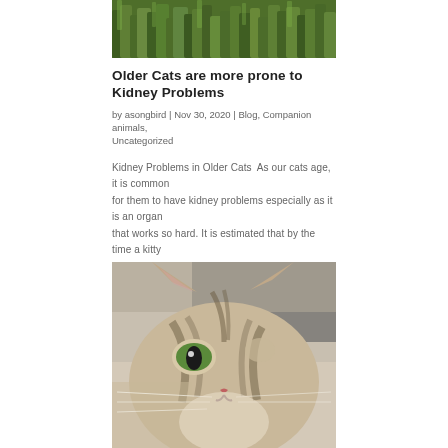[Figure (photo): Close-up photo of green grass and plants from above]
Older Cats are more prone to Kidney Problems
by asongbird | Nov 30, 2020 | Blog, Companion animals, Uncategorized
Kidney Problems in Older Cats  As our cats age, it is common for them to have kidney problems especially as it is an organ that works so hard. It is estimated that by the time a kitty reaches 15 years of age, over 15% of cats develop the disease in some form. The…
[Figure (photo): Close-up photo of a tabby cat face looking up at camera]